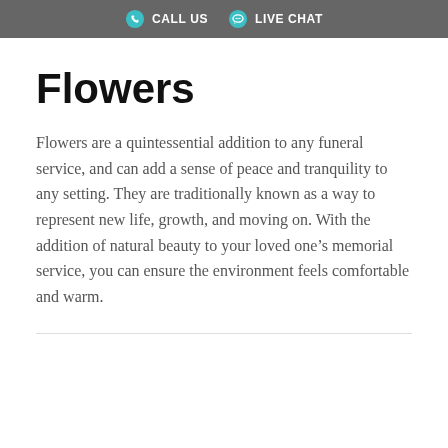CALL US  LIVE CHAT
Flowers
Flowers are a quintessential addition to any funeral service, and can add a sense of peace and tranquility to any setting. They are traditionally known as a way to represent new life, growth, and moving on. With the addition of natural beauty to your loved one’s memorial service, you can ensure the environment feels comfortable and warm.